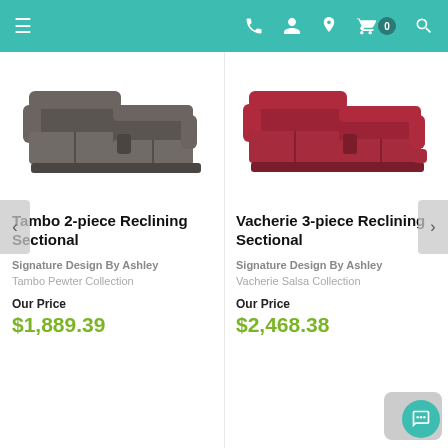Navigation bar with menu, phone, account, location, cart (0), and search icons
[Figure (photo): Tambo 2-piece reclining sectional sofa in dark gray/pewter color, L-shaped]
Tambo 2-piece Reclining Sectional
Signature Design By Ashley
Tambo Pewter Collection
Our Price
$1,889.39
[Figure (photo): Vacherie 3-piece reclining sectional sofa in red/salsa color, L-shaped]
Vacherie 3-piece Reclining Sectional
Signature Design By Ashley
Vacherie Salsa Collection
Our Price
$2,468.38